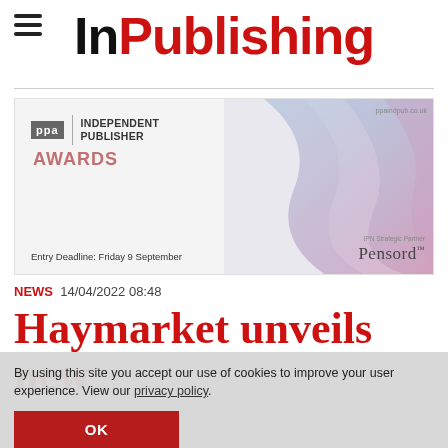InPublishing
[Figure (illustration): PPA Independent Publisher Awards advertisement banner with abstract wavy colorful background and Pensord as strategic partner. Entry Deadline: Friday 9 September.]
NEWS  14/04/2022 08:48
Haymarket unveils new
By using this site you accept our use of cookies to improve your user experience. View our privacy policy.